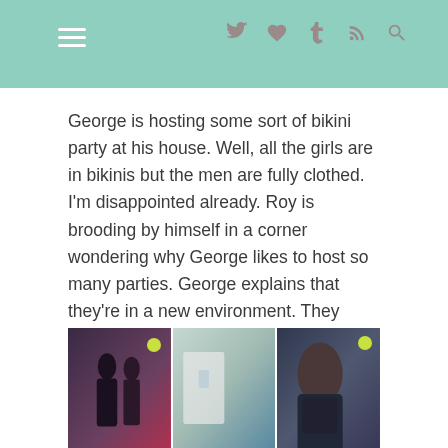Navigation bar with hamburger menu and social icons (Twitter, heart, Tumblr, RSS, search)
George is hosting some sort of bikini party at his house. Well, all the girls are in bikinis but the men are fully clothed. I'm disappointed already. Roy is brooding by himself in a corner wondering why George likes to host so many parties. George explains that they're in a new environment. They should meet new friends and the best way is to throw a party. However, Roy prefers being alone and reminds George of their agreement – there's only six months left.
[Figure (photo): Three side-by-side photo stills from a TV drama. Left panel shows two people talking at a party, middle panel shows an interior scene, right panel shows a close-up of a young man in black.]